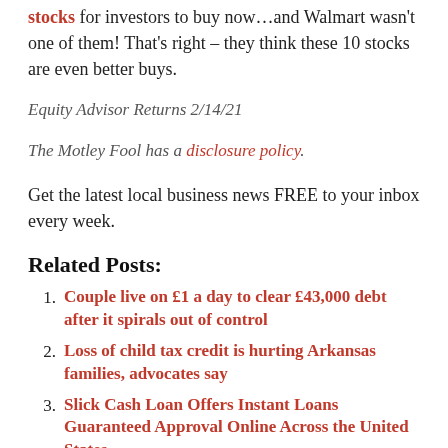stocks for investors to buy now…and Walmart wasn't one of them! That's right – they think these 10 stocks are even better buys.
Equity Advisor Returns 2/14/21
The Motley Fool has a disclosure policy.
Get the latest local business news FREE to your inbox every week.
Related Posts:
Couple live on £1 a day to clear £43,000 debt after it spirals out of control
Loss of child tax credit is hurting Arkansas families, advocates say
Slick Cash Loan Offers Instant Loans Guaranteed Approval Online Across the United States
Our First ode a nrt id kl tt rr (NYSE: OPE!)